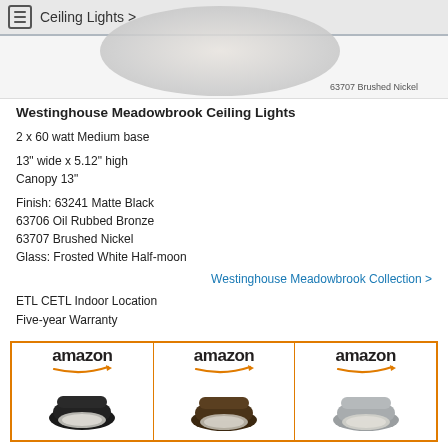Ceiling Lights >
[Figure (photo): Partial view of a ceiling light fixture, Brushed Nickel finish, labeled '63707 Brushed Nickel']
Westinghouse Meadowbrook Ceiling Lights
2 x 60 watt Medium base
13" wide x 5.12" high
Canopy 13"
Finish: 63241 Matte Black
63706 Oil Rubbed Bronze
63707 Brushed Nickel
Glass: Frosted White Half-moon
Westinghouse Meadowbrook Collection >
ETL CETL Indoor Location
Five-year Warranty
[Figure (screenshot): Three Amazon product listings side by side showing Westinghouse Meadowbrook ceiling lights in Matte Black, Oil Rubbed Bronze, and Brushed Nickel finishes]